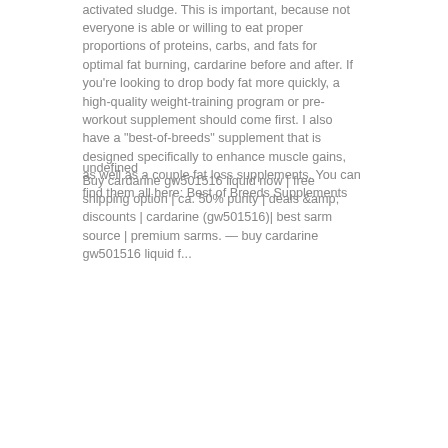activated sludge. This is important, because not everyone is able or willing to eat proper proportions of proteins, carbs, and fats for optimal fat burning, cardarine before and after. If you're looking to drop body fat more quickly, a high-quality weight-training program or pre-workout supplement should come first. I also have a "best-of-breeds" supplement that is designed specifically to enhance muscle gains, as well as a couple fat loss supplements. You can find them all here: Best of Breeds Supplements
undefined
Buy cardarine gw501516 liquid now | free shipping option | ca. 50% purity | deals &amp; discounts | cardarine (gw501516)| best sarm source | premium sarms. — buy cardarine gw501516 liquid from...